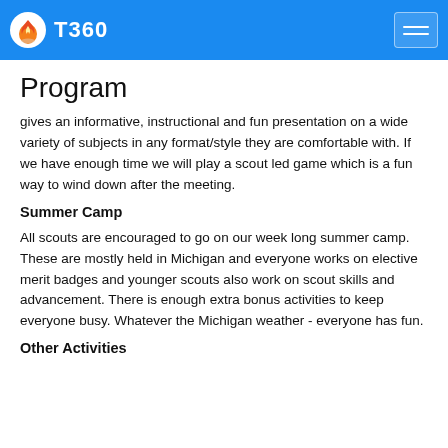T360
Program
gives an informative, instructional and fun presentation on a wide variety of subjects in any format/style they are comfortable with. If we have enough time we will play a scout led game which is a fun way to wind down after the meeting.
Summer Camp
All scouts are encouraged to go on our week long summer camp. These are mostly held in Michigan and everyone works on elective merit badges and younger scouts also work on scout skills and advancement. There is enough extra bonus activities to keep everyone busy. Whatever the Michigan weather - everyone has fun.
Other Activities